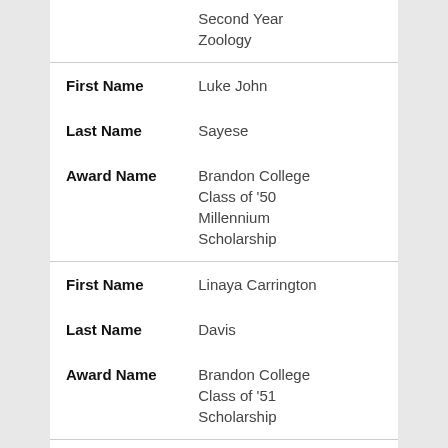| Field | Value |
| --- | --- |
|  | Second Year Zoology |
| First Name | Luke John |
| Last Name | Sayese |
| Award Name | Brandon College Class of '50 Millennium Scholarship |
| First Name | Linaya Carrington |
| Last Name | Davis |
| Award Name | Brandon College Class of '51 Scholarship |
| First Name | Ellen Grace |